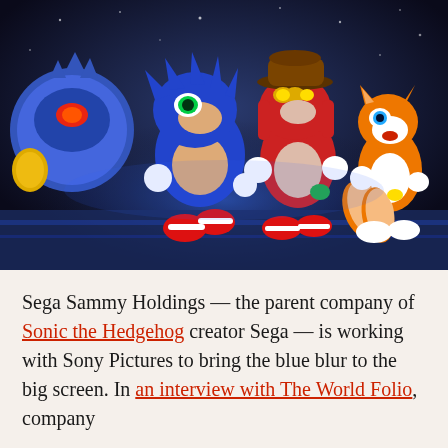[Figure (illustration): Animated illustration of Sonic the Hedgehog characters including Sonic, Knuckles wearing a brown hat, Tails, and a robotic/metal Sonic figure on the left, set against a dark blue background.]
Sega Sammy Holdings — the parent company of Sonic the Hedgehog creator Sega — is working with Sony Pictures to bring the blue blur to the big screen. In an interview with The World Folio, company